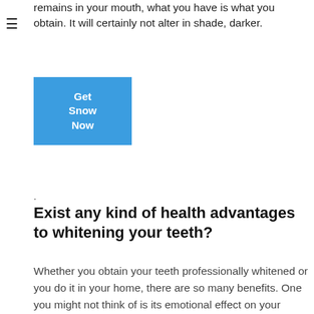remains in your mouth, what you have is what you obtain. It will certainly not alter in shade, darker.
[Figure (other): Blue button with text 'Get Snow Now']
.
Exist any kind of health advantages to whitening your teeth?
Whether you obtain your teeth professionally whitened or you do it in your home, there are so many benefits. One you might not think of is its emotional effect on your hygiene habits. Having whiter teeth will give you much more satisfaction, so you will certainly venture to look